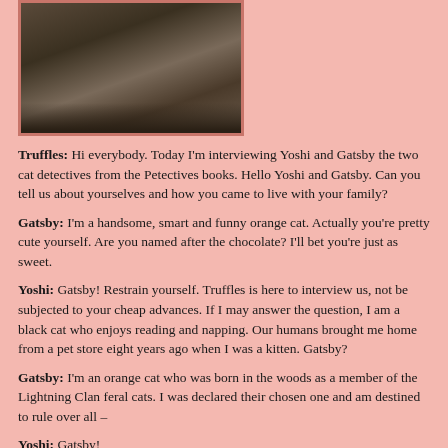[Figure (photo): Photo of a dark-colored cat (appears to be a black or dark grey cat) partially cropped, shown from the side against a light background, framed with a reddish-pink border.]
Truffles: Hi everybody. Today I'm interviewing Yoshi and Gatsby the two cat detectives from the Petectives books. Hello Yoshi and Gatsby. Can you tell us about yourselves and how you came to live with your family?
Gatsby: I'm a handsome, smart and funny orange cat. Actually you're pretty cute yourself. Are you named after the chocolate? I'll bet you're just as sweet.
Yoshi: Gatsby! Restrain yourself. Truffles is here to interview us, not be subjected to your cheap advances. If I may answer the question, I am a black cat who enjoys reading and napping. Our humans brought me home from a pet store eight years ago when I was a kitten. Gatsby?
Gatsby: I'm an orange cat who was born in the woods as a member of the Lightning Clan feral cats. I was declared their chosen one and am destined to rule over all –
Yoshi: Gatsby!
Gatsby: OK, OK. Our family picked me up at the Pets without Parents animal shelter three years ago. Before that I was a street kitten. Which must be where I picked up my street smarts and roughish charm.